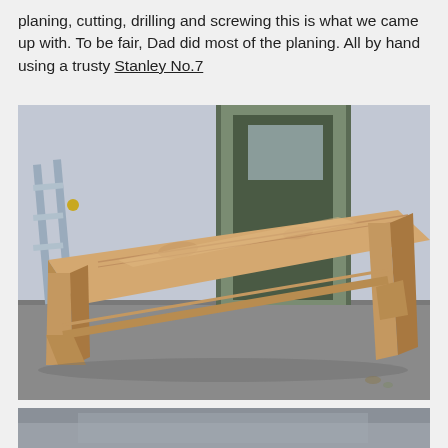planing, cutting, drilling and screwing this is what we came up with. To be fair, Dad did most of the planing. All by hand using a trusty Stanley No.7
[Figure (photo): A handmade wooden bench with a flat plank top and cross-braced legs, photographed outdoors on a concrete surface in front of a building door.]
[Figure (photo): Partial view of another photo at the bottom of the page, partially cut off.]